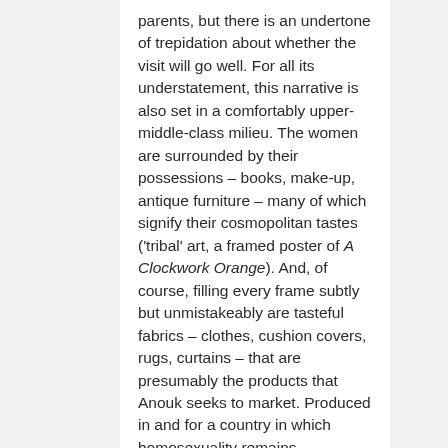parents, but there is an undertone of trepidation about whether the visit will go well. For all its understatement, this narrative is also set in a comfortably upper-middle-class milieu. The women are surrounded by their possessions – books, make-up, antique furniture – many of which signify their cosmopolitan tastes ('tribal' art, a framed poster of A Clockwork Orange). And, of course, filling every frame subtly but unmistakeably are tasteful fabrics – clothes, cushion covers, rugs, curtains – that are presumably the products that Anouk seeks to market. Produced in and for a country in which homosexuality remains